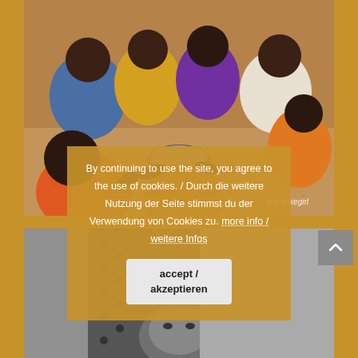[Figure (photo): Group of African children sitting in a circle eating from a shared bowl, viewed from above. Colorful clothing in yellow, purple, orange, white patterns.]
bushbikegirl
By continuing to use the site, you agree to the use of cookies. / Durch die weitere Nutzung der Seite stimmst du der Verwendung von Cookies zu. more info / weitere Infos
accept / akzeptieren
[Figure (photo): Black and white photo of a person, partial view showing torso and face of an African individual.]